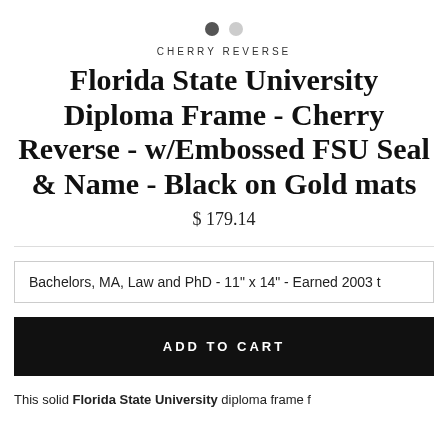[Figure (other): Two carousel navigation dots, one filled dark, one light gray]
CHERRY REVERSE
Florida State University Diploma Frame - Cherry Reverse - w/Embossed FSU Seal & Name - Black on Gold mats
$ 179.14
Bachelors, MA, Law and PhD - 11" x 14" - Earned 2003 t
ADD TO CART
This solid Florida State University diploma frame f